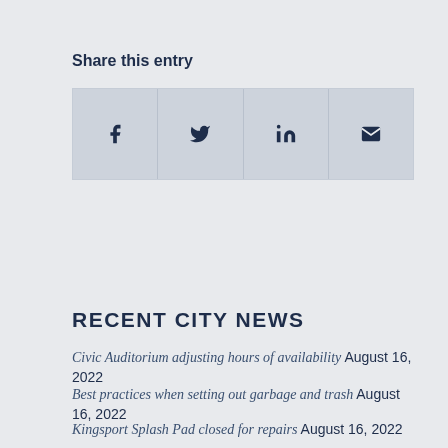Share this entry
[Figure (infographic): Social sharing buttons with icons for Facebook (f), Twitter (bird), LinkedIn (in), and Email (envelope)]
RECENT CITY NEWS
Civic Auditorium adjusting hours of availability August 16, 2022
Best practices when setting out garbage and trash August 16, 2022
Kingsport Splash Pad closed for repairs August 16, 2022